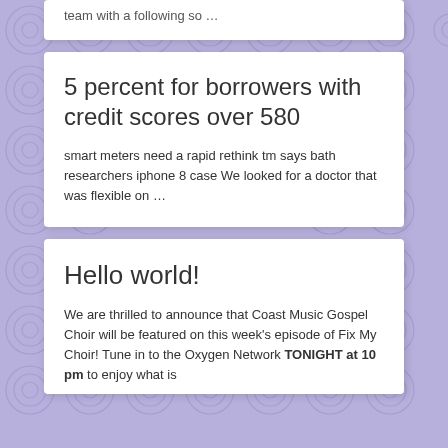team with a following so …
5 percent for borrowers with credit scores over 580
smart meters need a rapid rethink tm says bath researchers iphone 8 case We looked for a doctor that was flexible on …
Hello world!
We are thrilled to announce that Coast Music Gospel Choir will be featured on this week's episode of Fix My Choir! Tune in to the Oxygen Network TONIGHT at 10 pm to enjoy what is